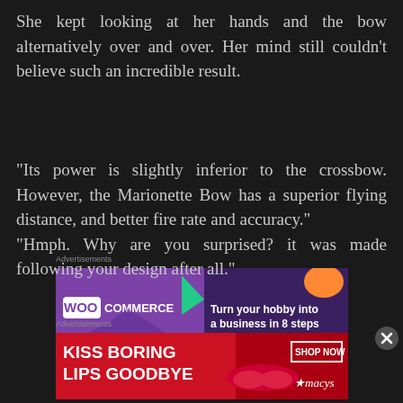She kept looking at her hands and the bow alternatively over and over. Her mind still couldn't believe such an incredible result.
Advertisements
[Figure (screenshot): WooCommerce advertisement banner: 'Turn your hobby into a business in 8 steps' on a purple background with colorful geometric shapes]
“Its power is slightly inferior to the crossbow. However, the Marionette Bow has a superior flying distance, and better fire rate and accuracy.”
“Hmph. Why are you surprised? it was made following your design after all.”
Advertisements
[Figure (screenshot): Macy's advertisement banner: 'KISS BORING LIPS GOODBYE' with a woman's face and red lips, SHOP NOW button and Macy's logo]